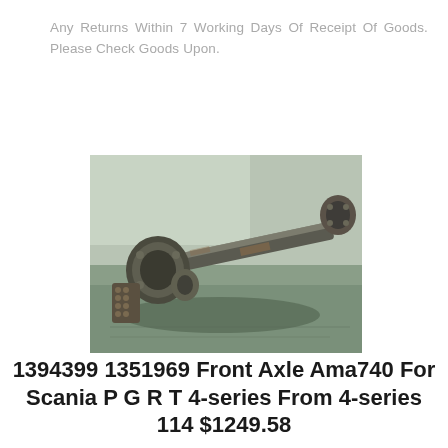Any Returns Within 7 Working Days Of Receipt Of Goods. Please Check Goods Upon.
[Figure (photo): A truck front axle assembly photographed on a concrete surface. The axle has a differential housing on the left, a long axle shaft extending to the right, and hub flanges visible on both ends.]
1394399 1351969 Front Axle Ama740 For Scania P G R T 4-series From 4-series 114 $1249.58